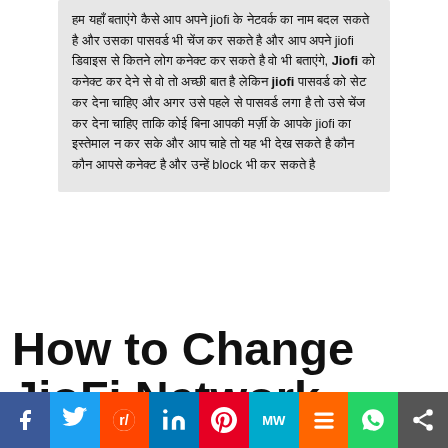हम यहाँ बताएंगे कैसे आप अपने jiofi के नेटवर्क का नाम बदल सकते है और उसका पासवर्ड भी चेंज कर सकते है और आप अपने jiofi डिवाइस से कितने लोग कनेक्ट कर सकते है वो भी बताएंगे, jiofi को कनेक्ट कर देने से वो तो अच्छी बात है लेकिन jiofi पासवर्ड को सेट कर देना चाहिए और अगर उसे पहले से पासवर्ड लगा है तो उसे चेंज कर देना चाहिए ताकि कोई बिना आपकी मर्ज़ी के आपके jiofi का इस्तेमाल न कर सके और आप चाहे तो यह भी देख सकते है कौन कौन आपसे कनेक्ट है और उन्हें block भी कर सकते है
How to Change JioFi Network Password?
[Figure (screenshot): Partial screenshot of a JioFi device image with red rounded border, cut off at bottom]